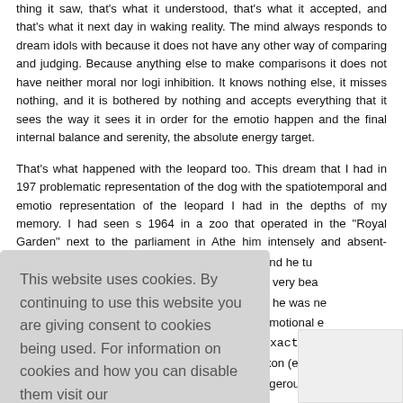thing it saw, that's what it understood, that's what it accepted, and that's what it next day in waking reality. The mind always responds to dream idols with because it does not have any other way of comparing and judging. Because anything else to make comparisons it does not have neither moral nor logic inhibition. It knows nothing else, it misses nothing, and it is bothered by nothing and accepts everything that it sees the way it sees it in order for the emotio happen and the final internal balance and serenity, the absolute energy target.
That's what happened with the leopard too. This dream that I had in 197 problematic representation of the dog with the spatiotemporal and emotio representation of the leopard I had in the depths of my memory. I had seen s 1964 in a zoo that operated in the "Royal Garden" next to the parliament in Athe him intensely and absent-minded I had come very close to his cage and he tu a very bea n he was ne emotional e exact ST+ ikon (emotio ngerous) an
This website uses cookies. By continuing to use this website you are giving consent to cookies being used. For information on cookies and how you can disable them visit our
Privacy and Cookie Policy.